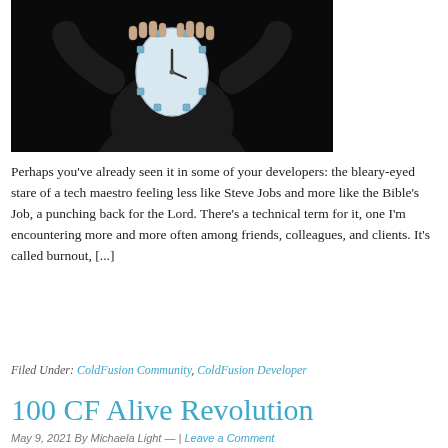[Figure (photo): Person in dark clothing with a clock face replacing their face, hands raised to head, on black background]
Perhaps you've already seen it in some of your developers: the bleary-eyed stare of a tech maestro feeling less like Steve Jobs and more like the Bible's Job, a punching back for the Lord. There's a technical term for it, one I'm encountering more and more often among friends, colleagues, and clients. It's called burnout, [...]
Filed Under: ColdFusion Community, ColdFusion Developer
100 CF Alive Revolution
May 9, 2021 By Michaela Light — | Leave a Comment